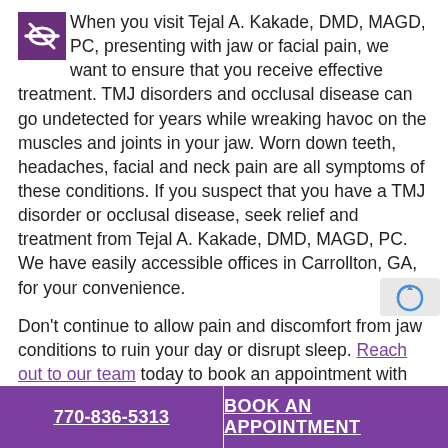When you visit Tejal A. Kakade, DMD, MAGD, PC, presenting with jaw or facial pain, we want to ensure that you receive effective treatment. TMJ disorders and occlusal disease can go undetected for years while wreaking havoc on the muscles and joints in your jaw. Worn down teeth, headaches, facial and neck pain are all symptoms of these conditions. If you suspect that you have a TMJ disorder or occlusal disease, seek relief and treatment from Tejal A. Kakade, DMD, MAGD, PC. We have easily accessible offices in Carrollton, GA, for your convenience.
Don't continue to allow pain and discomfort from jaw conditions to ruin your day or disrupt sleep. Reach out to our team today to book an appointment with Dr. Tejal. Our commitment to excellence in dentistry means you will always receive the most effective treatment possible.
770-836-5313   BOOK AN APPOINTMENT